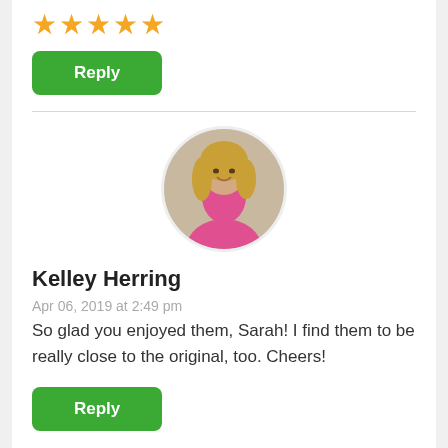[Figure (other): Five gold star rating icons]
Reply
[Figure (photo): Circular avatar photo of Kelley Herring, a blonde woman in a pink top]
Kelley Herring
Apr 06, 2019 at 2:49 pm
So glad you enjoyed them, Sarah! I find them to be really close to the original, too. Cheers!
Reply